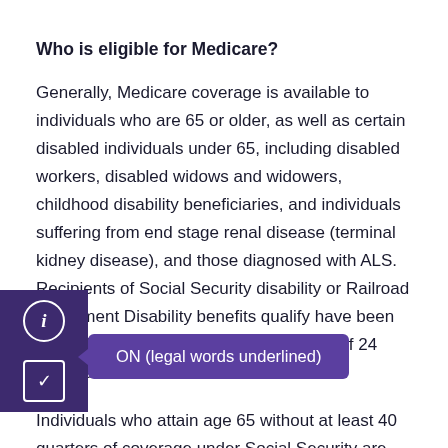Who is eligible for Medicare?
Generally, Medicare coverage is available to individuals who are 65 or older, as well as certain disabled individuals under 65, including disabled workers, disabled widows and widowers, childhood disability beneficiaries, and individuals suffering from end stage renal disease (terminal kidney disease), and those diagnosed with ALS. Recipients of Social Security disability or Railroad Retirement Disability benefits qualify ... have been entitled to disability benefits for a period of 24 months.
Individuals who attain age 65 without at least 40 quarters of coverage under Social Security are not automatically eligible for Medicare. However, those individuals...